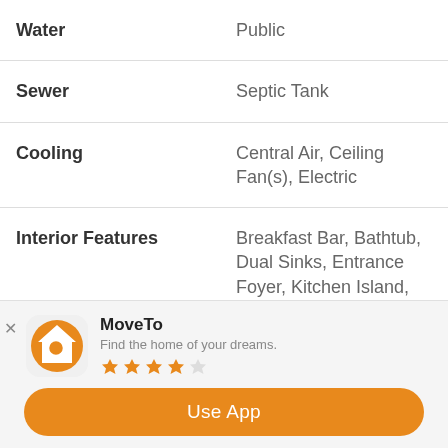| Property | Value |
| --- | --- |
| Water | Public |
| Sewer | Septic Tank |
| Cooling | Central Air, Ceiling Fan(s), Electric |
| Interior Features | Breakfast Bar, Bathtub, Dual Sinks, Entrance Foyer, Kitchen Island, Living/Dining Room, Pantry, Sitting Area in Master, Separate Shower, Walk-In Pantry, Air Filtration, Split Bedrooms |
[Figure (logo): MoveTo app icon — orange house with magnifying glass]
MoveTo
Find the home of your dreams.
★★★★☆
Use App